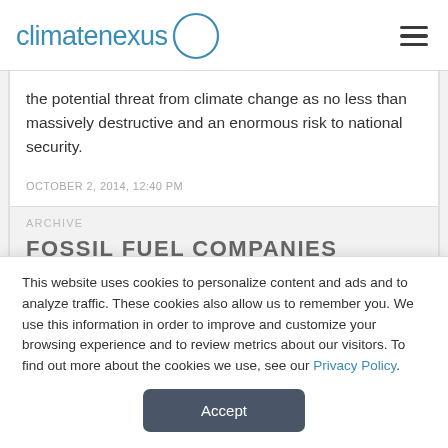climatenexus
the potential threat from climate change as no less than massively destructive and an enormous risk to national security.
OCTOBER 2, 2014, 12:40 PM
ARCHIVE
FOSSIL FUEL COMPANIES
This website uses cookies to personalize content and ads and to analyze traffic. These cookies also allow us to remember you. We use this information in order to improve and customize your browsing experience and to review metrics about our visitors. To find out more about the cookies we use, see our Privacy Policy.
Accept